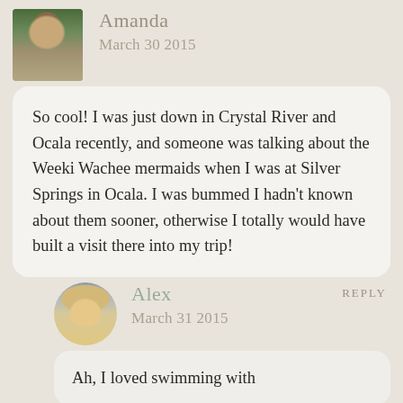[Figure (photo): Profile photo of Amanda, a woman sitting outdoors with greenery in the background]
Amanda
March 30 2015
So cool! I was just down in Crystal River and Ocala recently, and someone was talking about the Weeki Wachee mermaids when I was at Silver Springs in Ocala. I was bummed I hadn't known about them sooner, otherwise I totally would have built a visit there into my trip!
REPLY
[Figure (photo): Profile photo of Alex, a blonde woman smiling]
Alex
March 31 2015
Ah, I loved swimming with